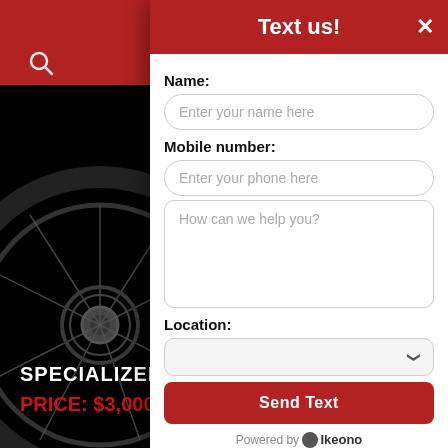[Figure (screenshot): Background of a dark bicycle product page showing a close-up of a road bike wheel with red branding. Red navigation header bar visible at top. Specialized logo and price visible at bottom left.]
Text us!
Name:
Enter your name here
Mobile number:
Enter your phone here
How can we help you?
Location:
Send Text
Powered by Ikeono
SPECIALIZED® A
PRICE: $3,000